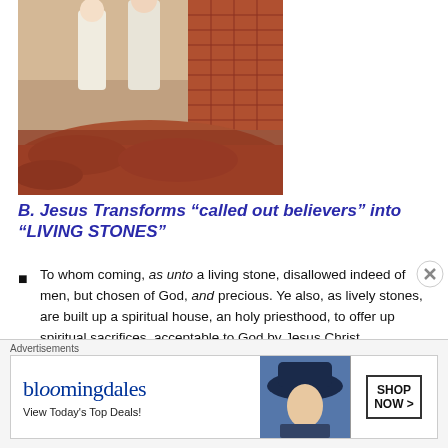[Figure (illustration): Illustration of robed figures near brick wall and rocky terrain, reddish-brown colors]
B. Jesus Transforms “called out believers” into “LIVING STONES”
To whom coming, as unto a living stone, disallowed indeed of men, but chosen of God, and precious. Ye also, as lively stones, are built up a spiritual house, an holy priesthood, to offer up spiritual sacrifices, acceptable to God by Jesus Christ. 1 Peter 2:4-5
And what agreement hath the temple of God with idols? for ye are the temple of the living God; as God hath said, I will dwell
Advertisements
[Figure (photo): Bloomingdale’s advertisement banner: logo, View Today’s Top Deals!, woman with hat, SHOP NOW >]